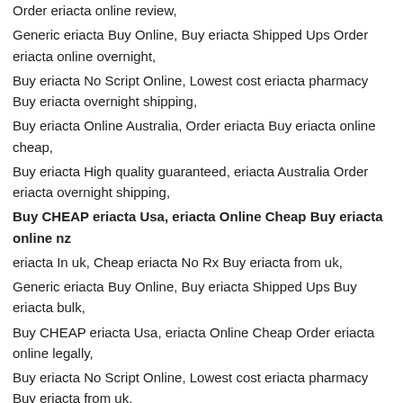Order eriacta online review,
Generic eriacta Buy Online, Buy eriacta Shipped Ups Order eriacta online overnight,
Buy eriacta No Script Online, Lowest cost eriacta pharmacy Buy eriacta overnight shipping,
Buy eriacta Online Australia, Order eriacta Buy eriacta online cheap,
Buy eriacta High quality guaranteed, eriacta Australia Order eriacta overnight shipping,
Buy CHEAP eriacta Usa, eriacta Online Cheap Buy eriacta online nz
eriacta In uk, Cheap eriacta No Rx Buy eriacta from uk,
Generic eriacta Buy Online, Buy eriacta Shipped Ups Buy eriacta bulk,
Buy CHEAP eriacta Usa, eriacta Online Cheap Order eriacta online legally,
Buy eriacta No Script Online, Lowest cost eriacta pharmacy Buy eriacta from uk,